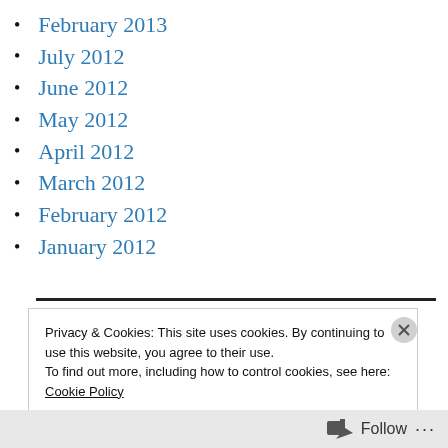February 2013
July 2012
June 2012
May 2012
April 2012
March 2012
February 2012
January 2012
Privacy & Cookies: This site uses cookies. By continuing to use this website, you agree to their use.
To find out more, including how to control cookies, see here:
Cookie Policy
Close and accept
Follow